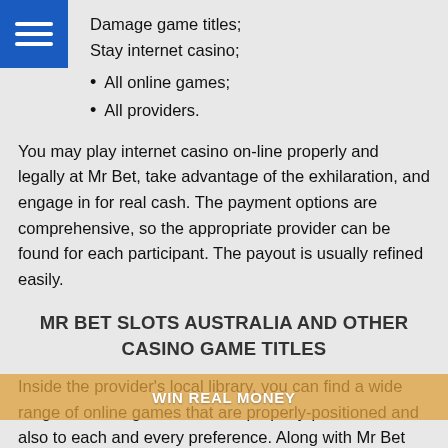Damage game titles;
Stay internet casino;
All online games;
All providers.
You may play internet casino on-line properly and legally at Mr Bet, take advantage of the exhilaration, and engage in for real cash. The payment options are comprehensive, so the appropriate provider can be found for each participant. The payout is usually refined easily.
MR BET SLOTS AUSTRALIA AND OTHER CASINO GAME TITLES
Inside the provider’s local library, you can find a wide range of online games that are properly-positioned and also to each and every preference. Along with Mr Bet Slots, scuff, board game titles and live casino are stored on offer you right here. A total of over 2,500 video games may be played out here, including video games from well-known and less popular suppliers like Betsoft, Booongo, Endorphina, Fugaso, Microgaming, NetEnt, Play’n GO, Pragmatic Enjoy, Quickspin, Yggdrasil Game playing